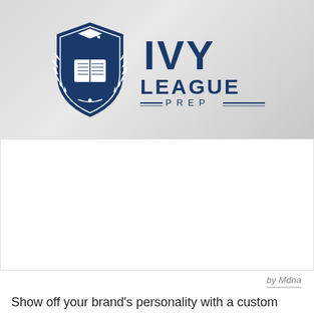[Figure (logo): Ivy League Prep logo: a dark blue shield crest with an open book and feather quill, flanked by laurel branches, topped with a graduation cap, next to large text reading IVY LEAGUE PREP with decorative lines around PREP]
by Mdna
Show off your brand's personality with a custom blue and white logo designed just for you by a professional designer. Need ideas? We've collected